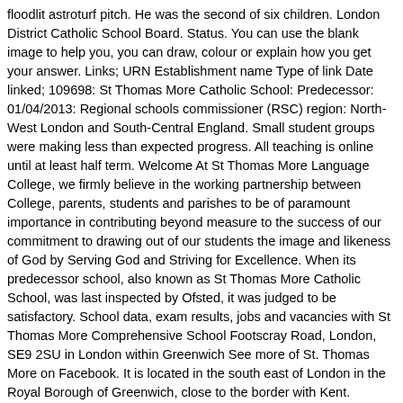floodlit astroturf pitch. He was the second of six children. London District Catholic School Board. Status. You can use the blank image to help you, you can draw, colour or explain how you get your answer. Links; URN Establishment name Type of link Date linked; 109698: St Thomas More Catholic School: Predecessor: 01/04/2013: Regional schools commissioner (RSC) region: North-West London and South-Central England. Small student groups were making less than expected progress. All teaching is online until at least half term. Welcome At St Thomas More Language College, we firmly believe in the working partnership between College, parents, students and parishes to be of paramount importance in contributing beyond measure to the success of our commitment to drawing out of our students the image and likeness of God by Serving God and Striving for Excellence. When its predecessor school, also known as St Thomas More Catholic School, was last inspected by Ofsted, it was judged to be satisfactory. School data, exam results, jobs and vacancies with St Thomas More Comprehensive School Footscray Road, London, SE9 2SU in London within Greenwich See more of St. Thomas More on Facebook. It is located in the south east of London in the Royal Borough of Greenwich, close to the border with Kent. Appleton Road, Eltham, London, SE9 6NS. St. Vincent de Paul Catholic Church - Austin, TX. Archdiocese of Southwark. Create New Account. St Thomas More is an outstanding school, as reflected in our recent Ofsted inspection and Section 48 Westminster Diocesan inspection at... Burney Mill Street in London on 7 February 1478. The...